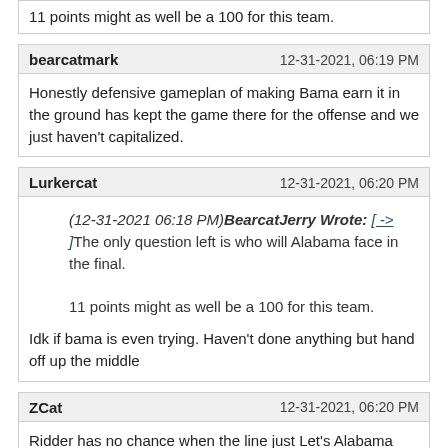11 points might as well be a 100 for this team.
bearcatmark
12-31-2021, 06:19 PM
Honestly defensive gameplan of making Bama earn it in the ground has kept the game there for the offense and we just haven't capitalized.
Lurkercat
12-31-2021, 06:20 PM
(12-31-2021 06:18 PM)BearcatJerry Wrote: [-> ] The only question left is who will Alabama face in the final.
11 points might as well be a 100 for this team.
Idk if bama is even trying. Haven't done anything but hand off up the middle
ZCat
12-31-2021, 06:20 PM
Ridder has no chance when the line just Let's Alabama come right on through.
rath v2.0
12-31-2021, 06:21 PM
Awesome composure